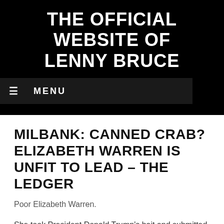THE OFFICIAL WEBSITE OF LENNY BRUCE
≡ MENU
MILBANK: CANNED CRAB? ELIZABETH WARREN IS UNFIT TO LEAD – THE LEDGER
Poor Elizabeth Warren.
She took President Donald Trump's bait and submitted to a DNA test to demonstrate her Native American genealogy — and, in so doing, may have doomed her presidential